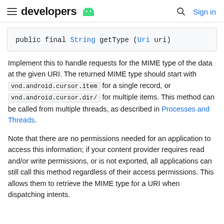developers [android logo] | Search | Sign in
Implement this to handle requests for the MIME type of the data at the given URI. The returned MIME type should start with vnd.android.cursor.item for a single record, or vnd.android.cursor.dir/ for multiple items. This method can be called from multiple threads, as described in Processes and Threads.
Note that there are no permissions needed for an application to access this information; if your content provider requires read and/or write permissions, or is not exported, all applications can still call this method regardless of their access permissions. This allows them to retrieve the MIME type for a URI when dispatching intents.